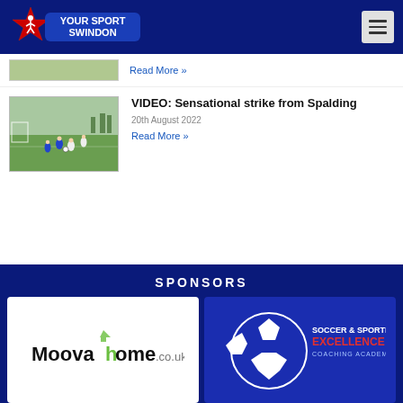[Figure (logo): Your Sport Swindon logo — star with person figure, blue banner with text]
[Figure (other): Hamburger menu icon button]
Read More »
[Figure (photo): Football match photo — players on grass pitch]
VIDEO: Sensational strike from Spalding
20th August 2022
Read More »
SPONSORS
[Figure (logo): Moovahome.co.uk sponsor logo]
[Figure (logo): Soccer & Sporting Excellence Coaching Academy logo with football graphic]